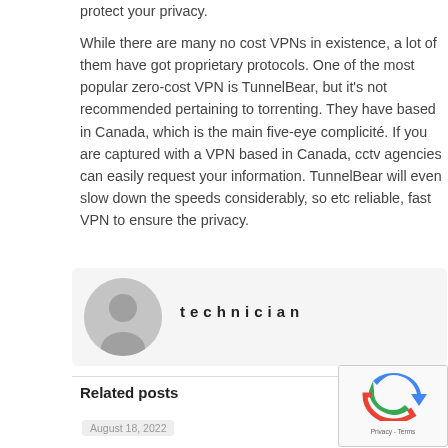protect your privacy.
While there are many no cost VPNs in existence, a lot of them have got proprietary protocols. One of the most popular zero-cost VPN is TunnelBear, but it's not recommended pertaining to torrenting. They have based in Canada, which is the main five-eye complicité. If you are captured with a VPN based in Canada, cctv agencies can easily request your information. TunnelBear will even slow down the speeds considerably, so etc reliable, fast VPN to ensure the privacy.
[Figure (other): Author avatar placeholder with grey circle and person silhouette icon]
technician
Related posts
August 18, 2022
[Figure (other): reCAPTCHA widget with Google logo and Privacy - Terms text]